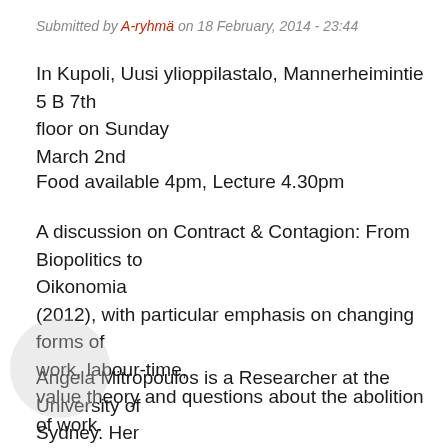Submitted by A-ryhmä on 18 February, 2014 - 23:44
In Kupoli, Uusi ylioppilastalo, Mannerheimintie 5 B 7th floor on Sunday
March 2nd
Food available 4pm, Lecture 4.30pm
A discussion on Contract & Contagion: From Biopolitics to Oikonomia
(2012), with particular emphasis on changing forms of work, labour-time,
value theory and questions about the abolition of work.
Angela Mitropoulos is a Researcher at the University of Sydney. Her
writing spans political movements and philosophy. Contract & Contagion
combines and goes beyond the limits of Italian Operaismo, postcolonial,
queer and feminist theory to offer a critical theoretical